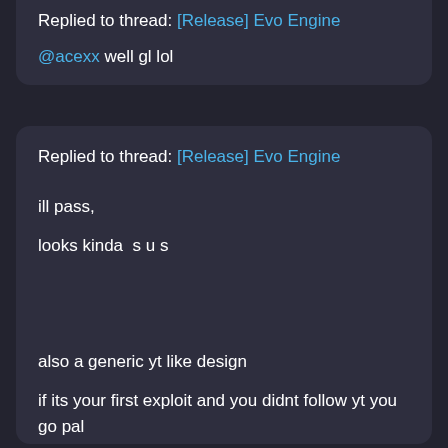Replied to thread: [Release] Evo Engine

@acexx well gl lol
Replied to thread: [Release] Evo Engine

ill pass,

looks kinda  s u s

also a generic yt like design

if its your first exploit and you didnt follow yt you go pal